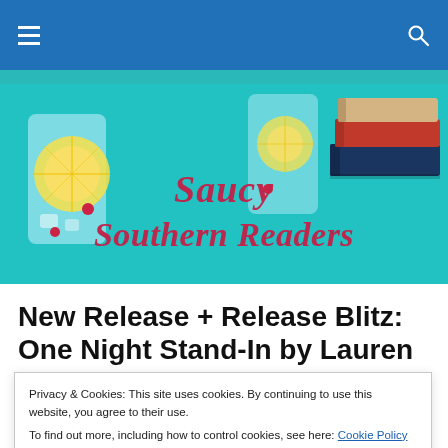Navigation bar with hamburger menu and search icon
[Figure (illustration): Saucy Southern Readers website banner showing drinks with lemon slices and a stack of books on a teal background with script text reading 'Saucy Southern Readers' in pink/crimson]
New Release + Release Blitz: One Night Stand-In by Lauren
Privacy & Cookies: This site uses cookies. By continuing to use this website, you agree to their use.
To find out more, including how to control cookies, see here: Cookie Policy
Close and accept